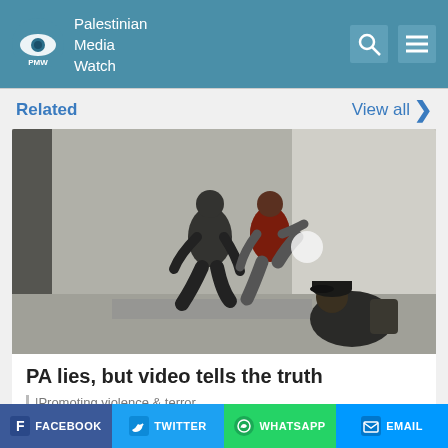Palestinian Media Watch
Related
View all
[Figure (photo): Security camera footage showing two individuals running through what appears to be a doorway or entrance, with a third person (appearing to be a guard or officer) crouching in the lower right]
PA lies, but video tells the truth
Promoting violence & terror
FACEBOOK  TWITTER  WHATSAPP  EMAIL